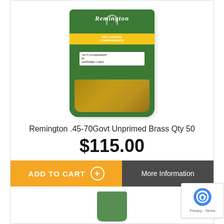[Figure (photo): Remington reloading components green bag containing .45-70 Govt unprimed brass cases, quantity 50]
Remington .45-70Govt Unprimed Brass Qty 50
$115.00
ADD TO CART
More Information
[Figure (photo): Partial view of another Remington reloading product at the bottom of the page]
[Figure (other): reCAPTCHA badge with Privacy and Terms links]